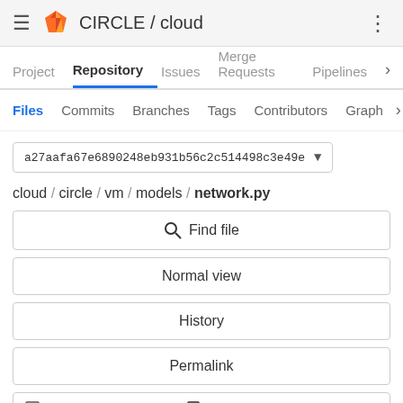CIRCLE / cloud
Project  Repository  Issues  Merge Requests  Pipelines
Files  Commits  Branches  Tags  Contributors  Graph
a27aafa67e6890248eb931b56c2c514498c3e49e
cloud / circle / vm / models / network.py
Find file
Normal view
History
Permalink
network.py 6.77 KB